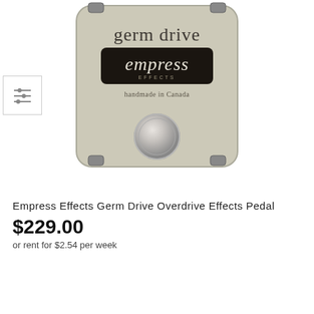[Figure (photo): Empress Effects Germ Drive Overdrive Effects Pedal — a compact beige/cream colored guitar effects pedal with a large chrome footswitch button, labeled 'germ drive' in serif text and 'empress effects' in white text on a black rounded rectangle badge, with 'handmade in Canada' printed below the logo. A small thumbnail image with a filter/adjust icon is visible in the lower-left area.]
Empress Effects Germ Drive Overdrive Effects Pedal
$229.00
or rent for $2.54 per week